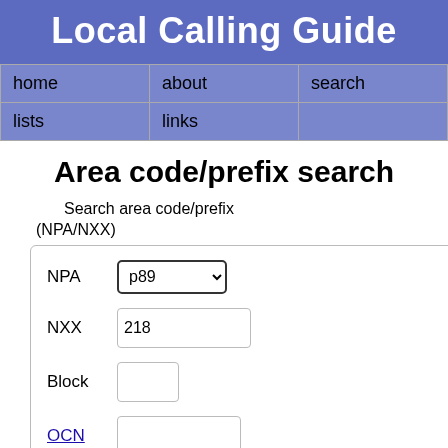Local Calling Guide
| home | about | search |
| --- | --- | --- |
| lists | links |  |
Area code/prefix search
Search area code/prefix (NPA/NXX)
NPA  p89 (dropdown)   NXX  218   Block  [  ]   OCN  [    ]   Region  [  ]   LATA  [  ]